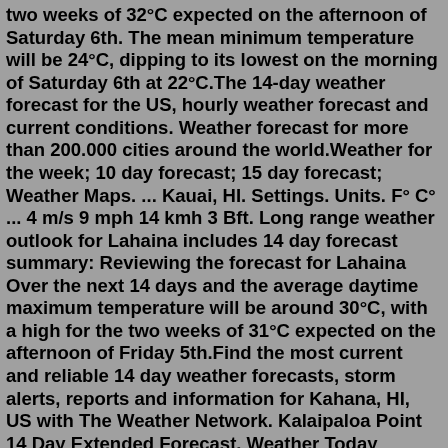two weeks of 32°C expected on the afternoon of Saturday 6th. The mean minimum temperature will be 24°C, dipping to its lowest on the morning of Saturday 6th at 22°C.The 14-day weather forecast for the US, hourly weather forecast and current conditions. Weather forecast for more than 200.000 cities around the world.Weather for the week; 10 day forecast; 15 day forecast; Weather Maps. ... Kauai, HI. Settings. Units. F° C° ... 4 m/s 9 mph 14 kmh 3 Bft. Long range weather outlook for Lahaina includes 14 day forecast summary: Reviewing the forecast for Lahaina Over the next 14 days and the average daytime maximum temperature will be around 30°C, with a high for the two weeks of 31°C expected on the afternoon of Friday 5th.Find the most current and reliable 14 day weather forecasts, storm alerts, reports and information for Kahana, HI, US with The Weather Network. Kalaipaloa Point 14 Day Extended Forecast. Weather Today Weather Hourly 14 Day Forecast Yesterday/Past Weather Climate (Averages) Currently: 78 °F. Passing clouds. (Weather station: